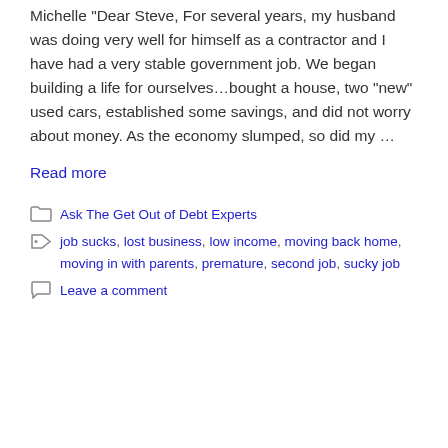Michelle “Dear Steve, For several years, my husband was doing very well for himself as a contractor and I have had a very stable government job. We began building a life for ourselves…bought a house, two “new” used cars, established some savings, and did not worry about money. As the economy slumped, so did my …
Read more
Ask The Get Out of Debt Experts
job sucks, lost business, low income, moving back home, moving in with parents, premature, second job, sucky job
Leave a comment